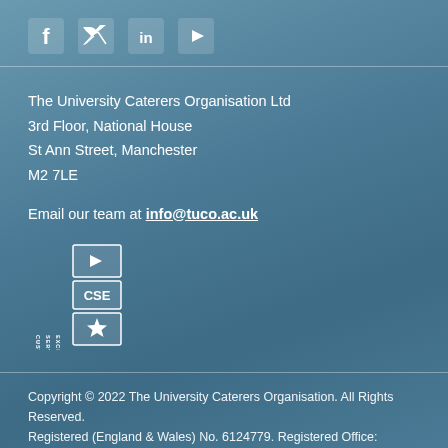[Figure (logo): Social media icons: Facebook, Twitter, LinkedIn, YouTube]
The University Caterers Organisation Ltd
3rd Floor, National House
St Ann Street, Manchester
M2 7LE
Email our team at info@tuco.ac.uk
[Figure (logo): Customer Service Excellence (CSE) award logo with badge icons]
Copyright © 2022 The University Caterers Organisation. All Rights Reserved.
Registered (England & Wales) No. 6124779. Registered Office: National House, 36 St Ann Street, Manchester, M2 7LE.